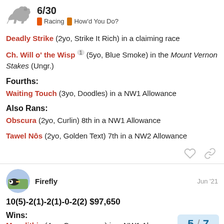6/30 · Racing · How'd You Do?
Deadly Strike (2yo, Strike It Rich) in a claiming race
Ch. Will o' the Wisp 1 (5yo, Blue Smoke) in the Mount Vernon Stakes (Ungr.)
Fourths:
Waiting Touch (3yo, Doodles) in a NW1 Allowance
Also Rans:
Obscura (2yo, Curlin) 8th in a NW1 Allowance
Tawel Nôs (2yo, Golden Text) 7th in a NW2 Allowance
Firefly · Jun '21
10(5)-2(1)-2(1)-0-2(2) $97,650
Wins:
Megalithic (4yo, Carrowmore) in a NW1 Al...
5 / 7